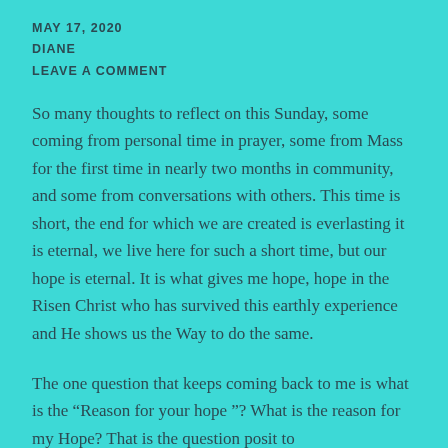MAY 17, 2020
DIANE
LEAVE A COMMENT
So many thoughts to reflect on this Sunday, some coming from personal time in prayer, some from Mass for the first time in nearly two months in community, and some from conversations with others. This time is short, the end for which we are created is everlasting it is eternal, we live here for such a short time, but our hope is eternal. It is what gives me hope, hope in the Risen Christ who has survived this earthly experience and He shows us the Way to do the same.
The one question that keeps coming back to me is what is the “Reason for your hope ”? What is the reason for my Hope? That is the question posit to